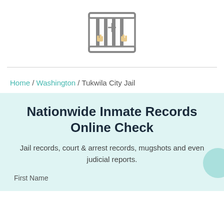[Figure (logo): Prison/jail icon showing bars with hands gripping them, in teal/tan colors]
Home / Washington / Tukwila City Jail
Nationwide Inmate Records Online Check
Jail records, court & arrest records, mugshots and even judicial reports.
First Name